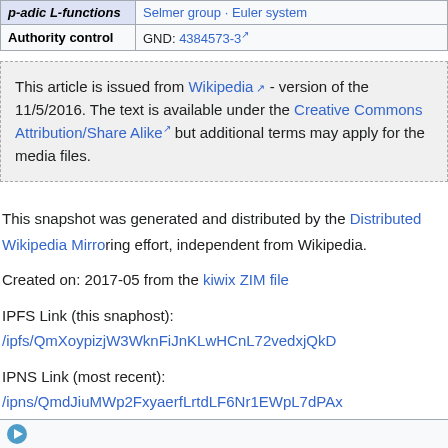|  |  |
| --- | --- |
| p-adic L-functions | Selmer group · Euler system |
| Authority control | GND: 4384573-3 ↗ |
This article is issued from Wikipedia ↗ - version of the 11/5/2016. The text is available under the Creative Commons Attribution/Share Alike ↗ but additional terms may apply for the media files.
This snapshot was generated and distributed by the Distributed Wikipedia Mirror effort, independent from Wikipedia.
Created on: 2017-05 from the kiwix ZIM file
IPFS Link (this snaphost): /ipfs/QmXoypizjW3WknFiJnKLwHCnL72vedxjQkD
IPNS Link (most recent): /ipns/QmdJiuMWp2FxyaerfLrtdLF6Nr1EWpL7dPAx
HTTP Link: https://gateway.ipfs.io/ipfs/QmXoypizjW3WknFiJnKLwHCnL72ve
Download IPFS Here ↗